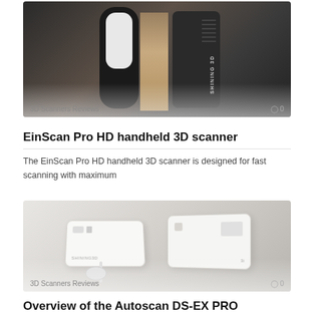[Figure (photo): EinScan Pro HD handheld 3D scanner product image showing two black scanner units and one gold/bronze colored unit side by side, with '3D Scanners Reviews' label and comment icon showing 0 comments]
EinScan Pro HD handheld 3D scanner
The EinScan Pro HD handheld 3D scanner is designed for fast scanning with maximum
[Figure (photo): Autoscan DS-EX PRO 3D scanner product image showing white compact 3D scanning devices with cables, with '3D Scanners Reviews' label and comment icon showing 0 comments]
Overview of the Autoscan DS-EX PRO